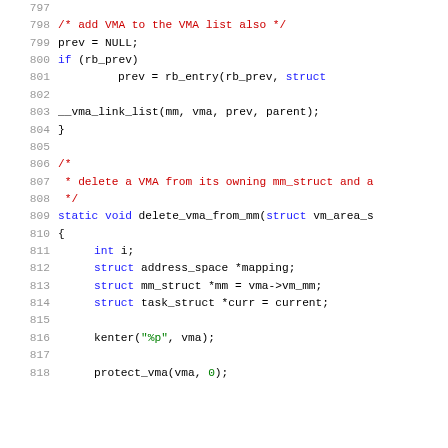[Figure (screenshot): Source code listing showing lines 797-818 of a C kernel file with syntax highlighting. Lines show VMA list operations and delete_vma_from_mm function definition.]